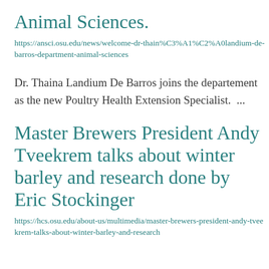Animal Sciences.
https://ansci.osu.edu/news/welcome-dr-thain%C3%A1%C2%A0landium-de-barros-department-animal-sciences
Dr. Thaina Landium De Barros joins the departement as the new Poultry Health Extension Specialist.  ...
Master Brewers President Andy Tveekrem talks about winter barley and research done by Eric Stockinger
https://hcs.osu.edu/about-us/multimedia/master-brewers-president-andy-tveekrem-talks-about-winter-barley-and-research